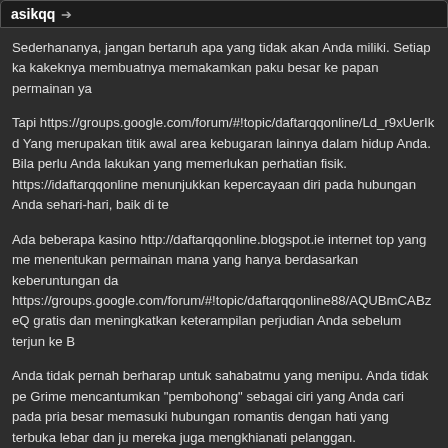asikqq →
Sederhananya, jangan bertaruh apa yang tidak akan Anda miliki. Setiap ka kakeknya membuatnya memakamkan paku besar ke papan permainan ya
Tapi https://groups.google.com/forum/#!topic/daftarqqonline/Ld_r9xUerIk d Yang merupakan titik awal area kebugaran lainnya dalam hidup Anda. Bila perlu Anda lakukan yang memerlukan perhatian fisik. https://idaftarqqonline menunjukkan kepercayaan diri pada hubungan Anda sehari-hari, baik di te
Ada beberapa kasino http://daftarqqonline.blogspot.ie internet top yang me menentukan permainan mana yang hanya berdasarkan keberuntungan da https://groups.google.com/forum/#!topic/daftarqqonline88/AQUBmCABzeQ gratis dan meningkatkan keterampilan perjudian Anda sebelum terjun ke B
Anda tidak pernah berharap untuk sahabatmu yang menipu. Anda tidak pe Grime mencantumkan "pembohong" sebagai ciri yang Anda cari pada pria besar memasuki hubungan romantis dengan hati yang terbuka lebar dan ju mereka juga mengkhianati pelanggan.
Sekali https://daftarqqonline.yolasite.com pembohong kronis telah meletak permainan mereka. Di dalam pikiran mereka, kebohongan awal ini adalah s kebohongan kecil yang diterima tanpa kesulitan, memberi tahu pelaku bah http://daftarqqonline88.yolasite.com Korban tanpa sadar masuk ke dalam p